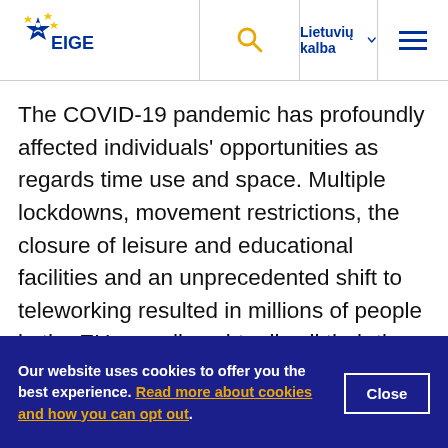[Figure (logo): EIGE (European Institute for Gender Equality) logo — blue star with person figure and yellow EU stars]
The COVID-19 pandemic has profoundly affected individuals' opportunities as regards time use and space. Multiple lockdowns, movement restrictions, the closure of leisure and educational facilities and an unprecedented shift to teleworking resulted in millions of people in the EU spending virtually all their time at home. For those caring for others, the situation has led to acute trade-offs in dividing time between paid work, care duties and leisure
Our website uses cookies to offer you the best experience. Read more about cookies and how you can opt out.